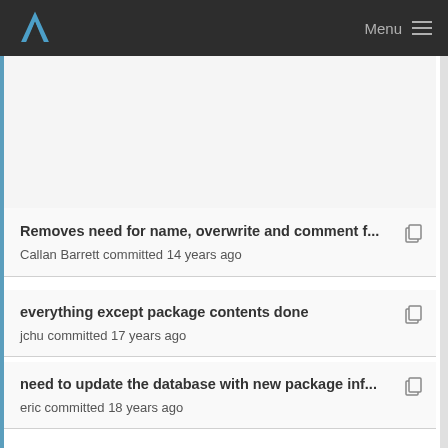Menu
Removes need for name, overwrite and comment f... Callan Barrett committed 14 years ago
everything except package contents done jchu committed 17 years ago
need to update the database with new package inf... eric committed 18 years ago